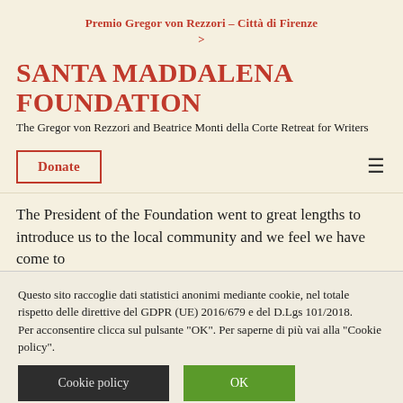Premio Gregor von Rezzori – Città di Firenze >
SANTA MADDALENA FOUNDATION
The Gregor von Rezzori and Beatrice Monti della Corte Retreat for Writers
Donate
The President of the Foundation went to great lengths to introduce us to the local community and we feel we have come to
Questo sito raccoglie dati statistici anonimi mediante cookie, nel totale rispetto delle direttive del GDPR (UE) 2016/679 e del D.Lgs 101/2018.
Per acconsentire clicca sul pulsante "OK". Per saperne di più vai alla "Cookie policy".
Cookie policy
OK